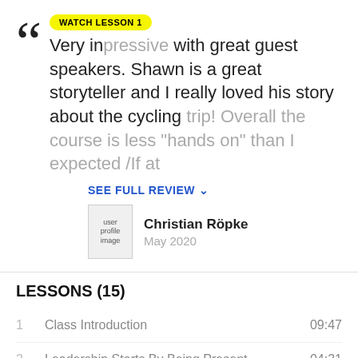Very interesting with great guest speakers. Shawn is a great storyteller and I really loved his story about the cycling trip! Overall the course is less "hands on" than I expected /If at
SEE FULL REVIEW
[Figure (photo): User profile image placeholder]
Christian Röpke
May 2020
LESSONS (15)
1  Class Introduction  09:47
2  Leadership Starts By Being Present  04:31